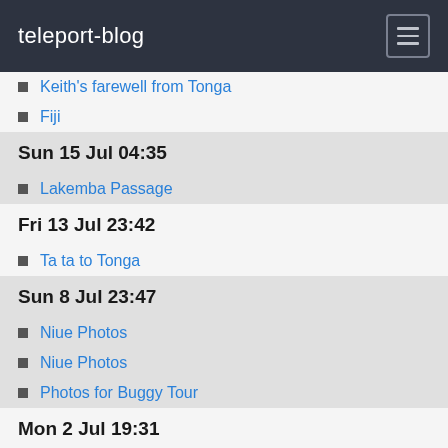teleport-blog
Keith's farewell from Tonga
Fiji
Sun 15 Jul 04:35
Lakemba Passage
Fri 13 Jul 23:42
Ta ta to Tonga
Sun 8 Jul 23:47
Niue Photos
Niue Photos
Photos for Buggy Tour
Mon 2 Jul 19:31
Tonga
Sun 1 Jul 02:12
Kingdom of Tonga
Jun 2012
Sat 23 Jun 22:25